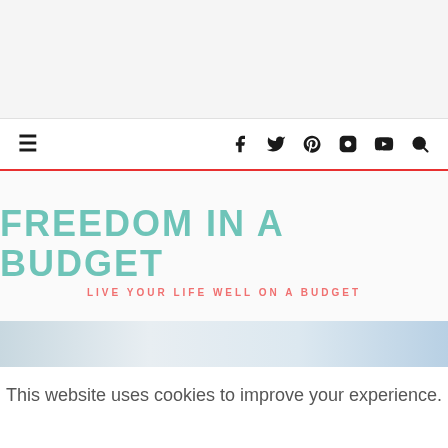[Figure (other): Top banner area / advertisement placeholder with light gray background]
≡  f  𝕥  𝕡  ☷  ▶  🔍
FREEDOM IN A BUDGET
LIVE YOUR LIFE WELL ON A BUDGET
[Figure (photo): Partial hero image with blurred light blue/white background]
This website uses cookies to improve your experience.